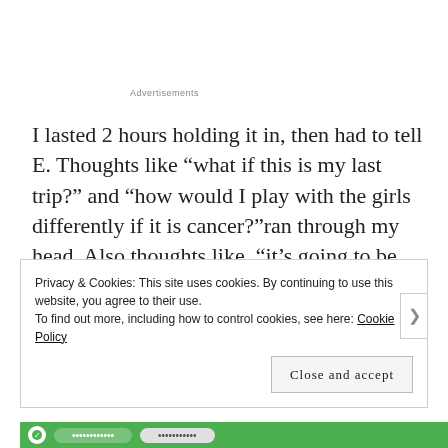Advertisements
I lasted 2 hours holding it in, then had to tell E. Thoughts like “what if this is my last trip?” and “how would I play with the girls differently if it is cancer?”ran through my head. Also thoughts like, “it’s going to be ok. Our team will take care of it, and you might get implants for your trouble!” 😂
Privacy & Cookies: This site uses cookies. By continuing to use this website, you agree to their use.
To find out more, including how to control cookies, see here: Cookie Policy
Close and accept